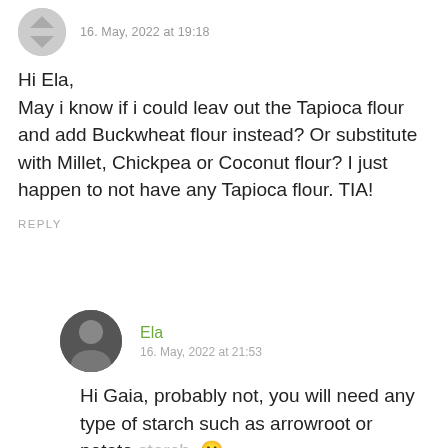16. May, 2022 at 19:18
Hi Ela,
May i know if i could leav out the Tapioca flour and add Buckwheat flour instead? Or substitute with Millet, Chickpea or Coconut flour? I just happen to not have any Tapioca flour. TIA!
REPLY
Ela
16. May, 2022 at 21:53
Hi Gaia, probably not, you will need any type of starch such as arrowroot or potato starch. 🙂
REPLY